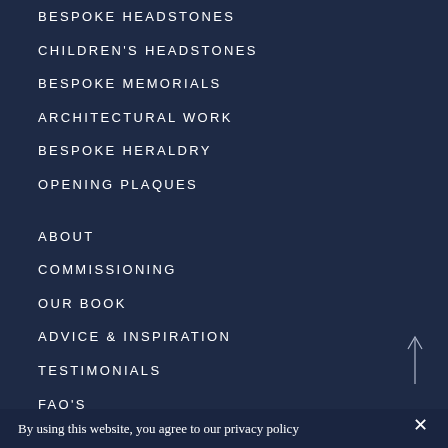BESPOKE HEADSTONES
CHILDREN'S HEADSTONES
BESPOKE MEMORIALS
ARCHITECTURAL WORK
BESPOKE HERALDRY
OPENING PLAQUES
ABOUT
COMMISSIONING
OUR BOOK
ADVICE & INSPIRATION
TESTIMONIALS
FAQ'S
By using this website, you agree to our privacy policy